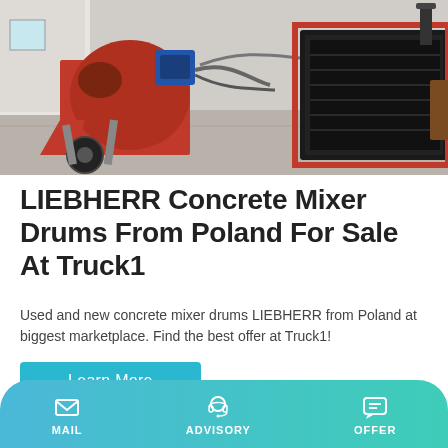[Figure (photo): Red LIEBHERR concrete mixer drum machinery on a paved surface outdoors, showing mechanical components, wheels, and a diesel engine unit.]
LIEBHERR Concrete Mixer Drums From Poland For Sale At Truck1
Used and new concrete mixer drums LIEBHERR from Poland at biggest marketplace. Find the best offer at Truck1!
[Figure (photo): Dark grey concrete mixer drum component shown partially, with mechanical parts visible, against a light background.]
MAIL   ADVISORY   OFFER